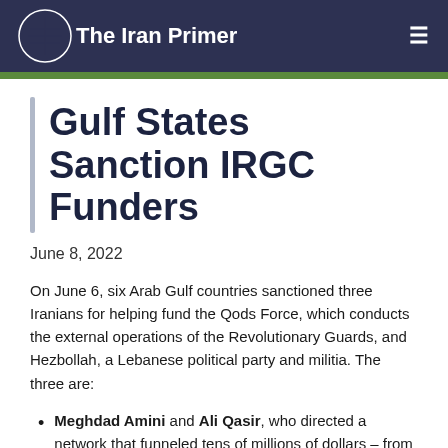The Iran Primer
Gulf States Sanction IRGC Funders
June 8, 2022
On June 6, six Arab Gulf countries sanctioned three Iranians for helping fund the Qods Force, which conducts the external operations of the Revolutionary Guards, and Hezbollah, a Lebanese political party and militia. The three are:
Meghdad Amini and Ali Qasir, who directed a network that funneled tens of millions of dollars – from sales of gold, electronics and foreign currency – to the Qods